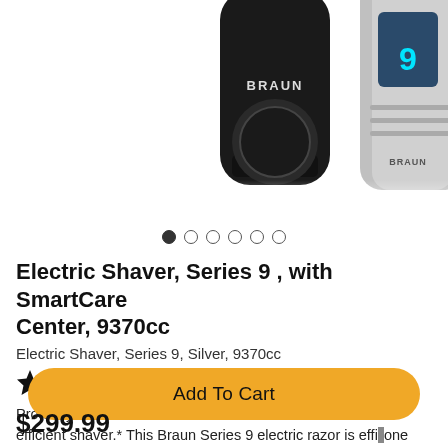[Figure (photo): Product photo of two Braun electric shavers - one black cylindrical shaver and one silver Series 9 shaver with digital display, partially cropped at top]
• ○ ○ ○ ○ ○  (image carousel dots, first filled)
Electric Shaver, Series 9 , with SmartCare Center, 9370cc
Electric Shaver, Series 9, Silver, 9370cc
★★★★☆  Read 190 Reviews
Protect your skin from nicks and cuts with the World's most efficient shaver.* This Braun Series 9 electric razor is effi... one strok...
Add To Cart
$299.99